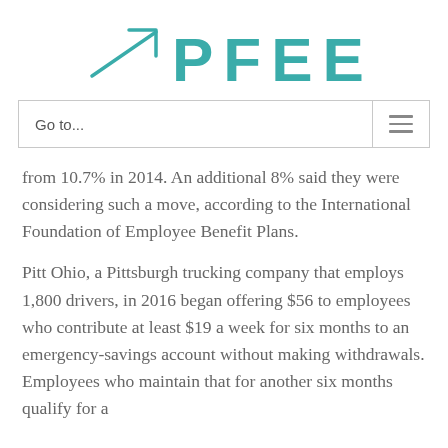PFEEF
Go to...
from 10.7% in 2014. An additional 8% said they were considering such a move, according to the International Foundation of Employee Benefit Plans.
Pitt Ohio, a Pittsburgh trucking company that employs 1,800 drivers, in 2016 began offering $56 to employees who contribute at least $19 a week for six months to an emergency-savings account without making withdrawals. Employees who maintain that for another six months qualify for a